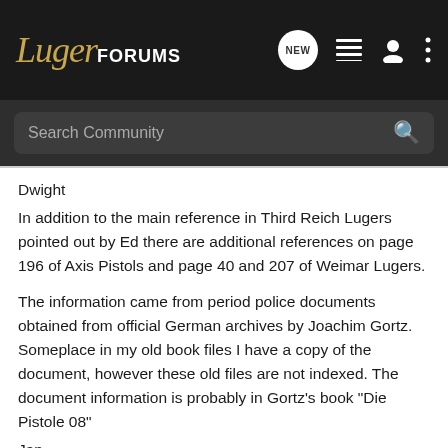LugerFORUMS
Search Community
Dwight
In addition to the main reference in Third Reich Lugers pointed out by Ed there are additional references on page 196 of Axis Pistols and page 40 and 207 of Weimar Lugers.

The information came from period police documents obtained from official German archives by Joachim Gortz. Someplace in my old book files I have a copy of the document, however these old files are not indexed. The document information is probably in Gortz's book "Die Pistole 08"
Jan
Jan C Still